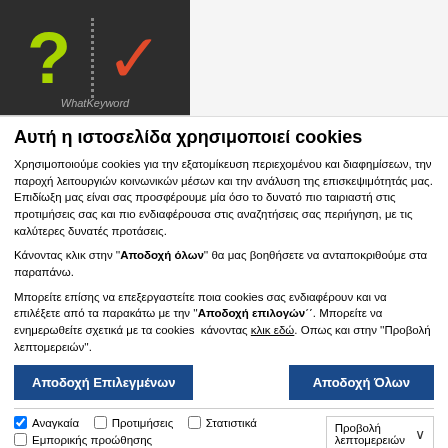[Figure (illustration): Dark banner with green question mark and orange/red checkmark separated by a dotted vertical line, with faded text at the bottom]
Αυτή η ιστοσελίδα χρησιμοποιεί cookies
Χρησιμοποιούμε cookies για την εξατομίκευση περιεχομένου και διαφημίσεων, την παροχή λειτουργιών κοινωνικών μέσων και την ανάλυση της επισκεψιμότητάς μας. Επιδίωξη μας είναι σας προσφέρουμε μία όσο το δυνατό πιο ταιριαστή στις προτιμήσεις σας και πιο ενδιαφέρουσα στις αναζητήσεις σας περιήγηση, με τις καλύτερες δυνατές προτάσεις.
Κάνοντας κλικ στην ''Αποδοχή όλων'' θα μας βοηθήσετε να ανταποκριθούμε στα παραπάνω.
Μπορείτε επίσης να επεξεργαστείτε ποια cookies σας ενδιαφέρουν και να επιλέξετε από τα παρακάτω με την ''Αποδοχή επιλογών΄΄. Μπορείτε να ενημερωθείτε σχετικά με τα cookies  κάνοντας κλικ εδώ. Οπως και στην ''Προβολή λεπτομερειών''.
Αποδοχή Επιλεγμένων
Αποδοχή Όλων
Αναγκαία   Προτιμήσεις   Στατιστικά   Προβολή λεπτομερειών   Εμπορικής προώθησης